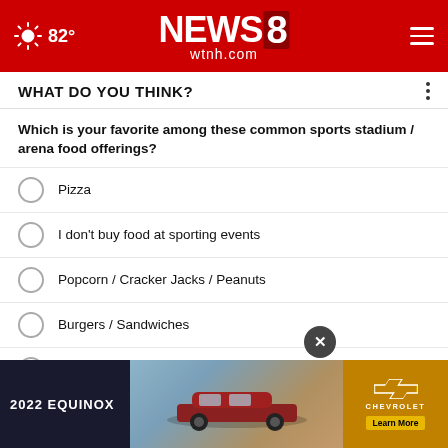82° NEWS8 wtnh.com
WHAT DO YOU THINK?
Which is your favorite among these common sports stadium / arena food offerings?
Pizza
I don't buy food at sporting events
Popcorn / Cracker Jacks / Peanuts
Burgers / Sandwiches
French fries
Other / Does not apply
Hot dogs / Sausages
[Figure (infographic): Chevrolet 2022 Equinox advertisement banner at bottom of page with car image and Learn More button]